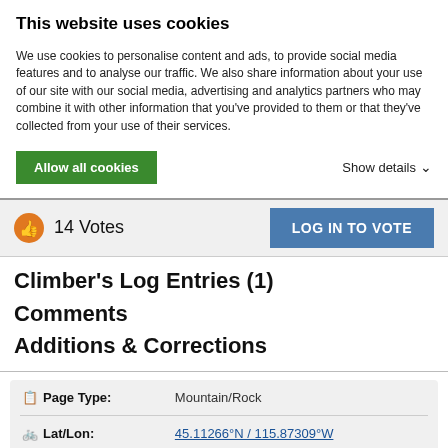This website uses cookies
We use cookies to personalise content and ads, to provide social media features and to analyse our traffic. We also share information about your use of our site with our social media, advertising and analytics partners who may combine it with other information that you've provided to them or that they've collected from your use of their services.
Allow all cookies
Show details
14 Votes
LOG IN TO VOTE
Climber's Log Entries (1)
Comments
Additions & Corrections
| Field | Value |
| --- | --- |
| Page Type: | Mountain/Rock |
| Lat/Lon: | 45.11266°N / 115.87309°W |